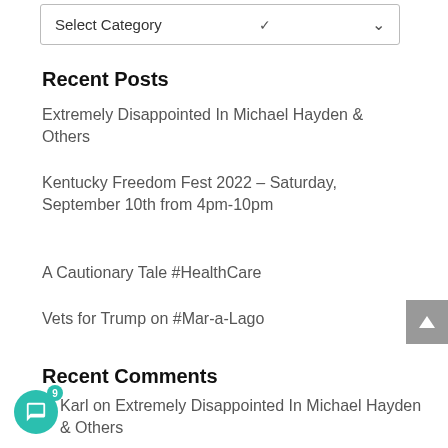[Figure (other): Select Category dropdown input box]
Recent Posts
Extremely Disappointed In Michael Hayden & Others
Kentucky Freedom Fest 2022 – Saturday, September 10th from 4pm-10pm
A Cautionary Tale #HealthCare
Vets for Trump on #Mar-a-Lago
Recent Comments
Karl on Extremely Disappointed In Michael Hayden & Others
Mark on Shorter & Sweeter – Tab…